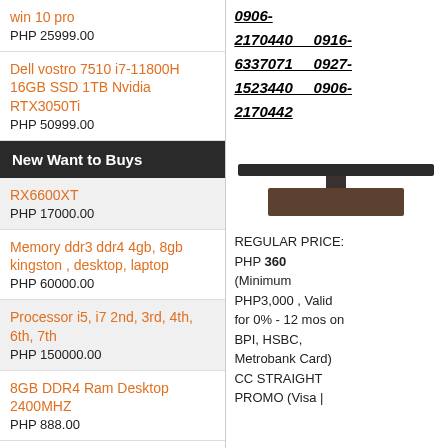win 10 pro
PHP 25999.00
Dell vostro 7510 i7-11800H 16GB SSD 1TB Nvidia RTX3050Ti
PHP 50999.00
New Want to Buys
RX6600XT
PHP 17000.00
Memory ddr3 ddr4 4gb, 8gb kingston , desktop, laptop
PHP 60000.00
Processor i5, i7 2nd, 3rd, 4th, 6th, 7th
PHP 150000.00
8GB DDR4 Ram Desktop 2400MHZ
PHP 888.00
0906-2170440   0916-6337071   0927-1523440   0906-2170442
[Figure (photo): Monitor or TV product image showing stand and base]
REGULAR PRICE: PHP 360 (Minimum PHP3,000 , Valid for 0% - 12 mos on BPI, HSBC, Metrobank Card) CC STRAIGHT PROMO (Visa |